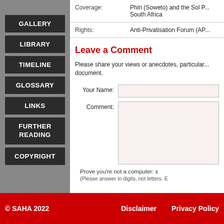GALLERY
LIBRARY
TIMELINE
GLOSSARY
LINKS
FURTHER READING
COPYRIGHT
| Field | Value |
| --- | --- |
| Coverage: | Phiri (Soweto) and the Sol P... South Africa |
| Rights: | Anti-Privatisation Forum (AP... |
Leave a Comment
Please share your views or anecdotes, particular... document.
Your Name:
Comment:
Prove you're not a computer: s
(Please answer in digits, not letters. E
© SAHA 2022   Disclaimer   Privacy Policy